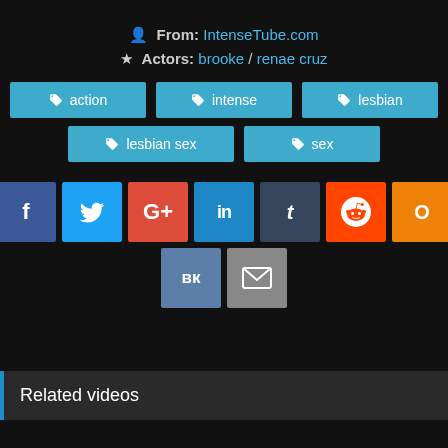From: IntenseTube.com
Actors: brooke / renae cruz
action
intense
lesbian
lesbian sex
sex
[Figure (infographic): Social media share buttons: Facebook, Twitter, Google+, LinkedIn, Tumblr, Reddit, Odnoklassniki, VK, Email]
Related videos